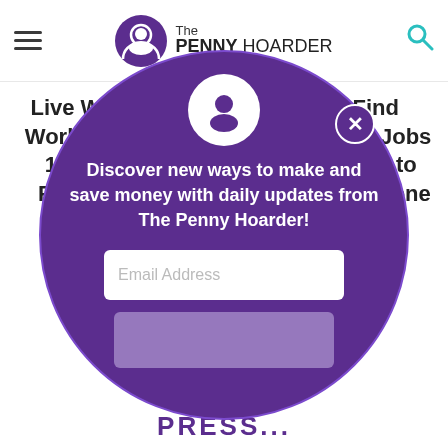The Penny Hoarder
Live Where You Work with These 16 Jobs That Provide Hou...
How to Find Housesitting Jobs and Get Paid to Sleep in Someone Else's House
by Kent McDill
[Figure (infographic): Purple circular modal popup with The Penny Hoarder logo at top, headline text, email address input field, and a submit button. A close (X) button appears at top right of the circle.]
Discover new ways to make and save money with daily updates from The Penny Hoarder!
Email Address
PRESS...